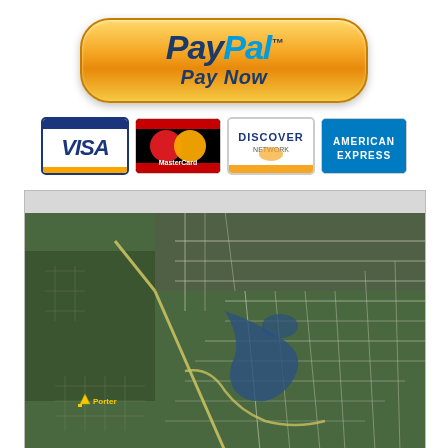[Figure (logo): PayPal Pay Now button with orange gradient rounded rectangle styling, PayPal logo in blue and light blue italic font with TM mark, and 'Pay Now' text below]
[Figure (logo): Row of four payment card logos: VISA, MasterCard, Discover Network, and American Express]
[Figure (map): Aerial/satellite map view showing a town with street grid, green fields, roads, and a small lake or pond visible. A yellow marker labeled 'Porter' is visible in the lower left area.]